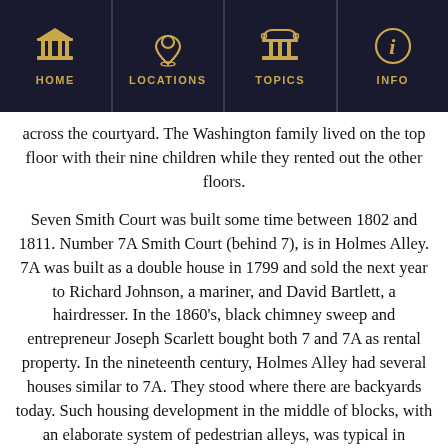HOME | LOCATIONS | TOPICS | INFO
across the courtyard.  The Washington family lived on the top floor with their nine children while they rented out the other floors.
Seven Smith Court was built some time between 1802 and 1811. Number 7A Smith Court (behind 7), is in Holmes Alley. 7A was built as a double house in 1799 and sold the next year to Richard Johnson, a mariner, and David Bartlett, a hairdresser.  In the 1860's, black chimney sweep and entrepreneur Joseph Scarlett bought both 7 and 7A as rental property.  In the nineteenth century, Holmes Alley had several houses similar to 7A.  They stood where there are backyards today.  Such housing development in the middle of blocks, with an elaborate system of pedestrian alleys, was typical in